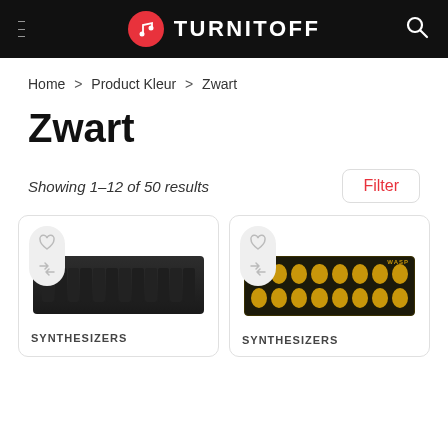TURNITOFF
Home > Product Kleur > Zwart
Zwart
Showing 1–12 of 50 results
[Figure (screenshot): Two product cards for synthesizers: left card shows a black keyboard synthesizer, right card shows a WASP-style black and yellow synthesizer. Both labeled SYNTHESIZERS.]